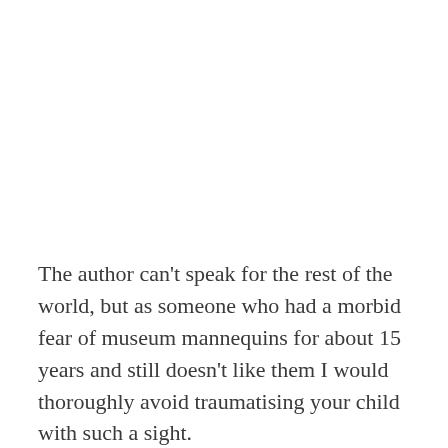The author can't speak for the rest of the world, but as someone who had a morbid fear of museum mannequins for about 15 years and still doesn't like them I would thoroughly avoid traumatising your child with such a sight.